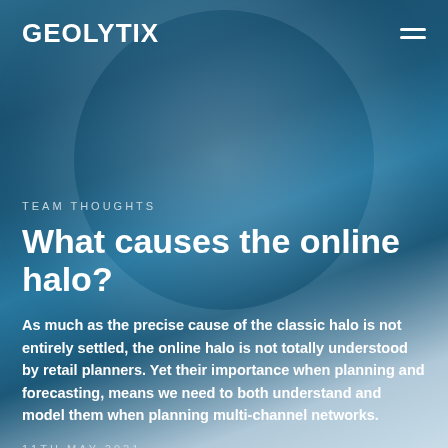GEOLYTIX
[Figure (photo): Blue sky background with a bright halo/atmospheric optical phenomenon — a glowing circular halo around a light source against a blue sky]
TEAM THOUGHTS
What causes the online halo?
As much as the precise cause of the classic halo is not entirely settled, the online halo is not totally understood by retail planners. Yet their importance when planning and forecasting, means we need to both understand and model them when planning multi-channel networks.
11TH MAY 2021